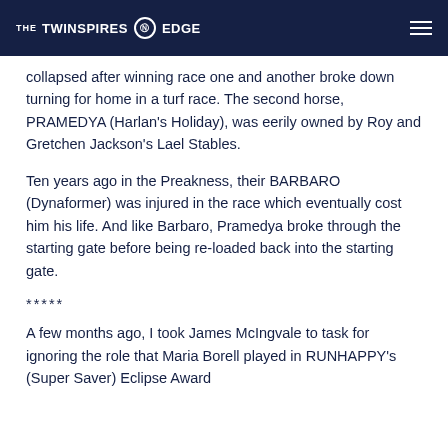THE TWINSPIRES EDGE
collapsed after winning race one and another broke down turning for home in a turf race. The second horse, PRAMEDYA (Harlan's Holiday), was eerily owned by Roy and Gretchen Jackson's Lael Stables.
Ten years ago in the Preakness, their BARBARO (Dynaformer) was injured in the race which eventually cost him his life. And like Barbaro, Pramedya broke through the starting gate before being re-loaded back into the starting gate.
*****
A few months ago, I took James McIngvale to task for ignoring the role that Maria Borell played in RUNHAPPY's (Super Saver) Eclipse Award